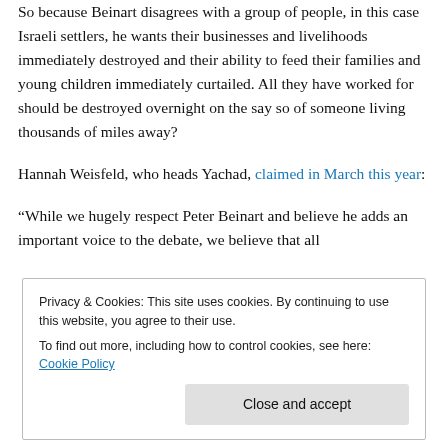So because Beinart disagrees with a group of people, in this case Israeli settlers, he wants their businesses and livelihoods immediately destroyed and their ability to feed their families and young children immediately curtailed. All they have worked for should be destroyed overnight on the say so of someone living thousands of miles away?
Hannah Weisfeld, who heads Yachad, claimed in March this year:
“While we hugely respect Peter Beinart and believe he adds an important voice to the debate, we believe that all
Privacy & Cookies: This site uses cookies. By continuing to use this website, you agree to their use.
To find out more, including how to control cookies, see here: Cookie Policy